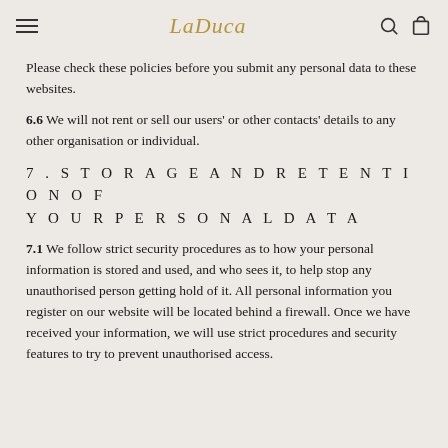LaDuca
Please check these policies before you submit any personal data to these websites.
6.6 We will not rent or sell our users' or other contacts' details to any other organisation or individual.
7. STORAGE AND RETENTION OF YOUR PERSONAL DATA
7.1 We follow strict security procedures as to how your personal information is stored and used, and who sees it, to help stop any unauthorised person getting hold of it. All personal information you register on our website will be located behind a firewall. Once we have received your information, we will use strict procedures and security features to try to prevent unauthorised access.